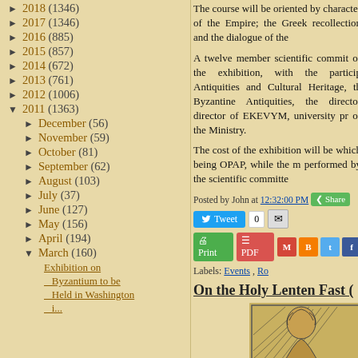► 2018 (1346)
► 2017 (1346)
► 2016 (885)
► 2015 (857)
► 2014 (672)
► 2013 (761)
► 2012 (1006)
▼ 2011 (1363)
► December (56)
► November (59)
► October (81)
► September (62)
► August (103)
► July (37)
► June (127)
► May (156)
► April (194)
▼ March (160)
Exhibition on Byzantium to be Held in Washington i...
The course will be oriented by character of the Empire; the Greek recollection and the dialogue of the
A twelve member scientific commit of the exhibition, with the particip Antiquities and Cultural Heritage, th Byzantine Antiquities, the director director of EKEVYM, university pr of the Ministry.
The cost of the exhibition will be which being OPAP, while the m performed by the scientific committe
Posted by John at 12:32:00 PM
Tweet 0
Print PDF
Labels: Events , Ro
On the Holy Lenten Fast (
[Figure (illustration): Partial illustration of a religious figure, appears to be a woodcut or engraving style drawing]